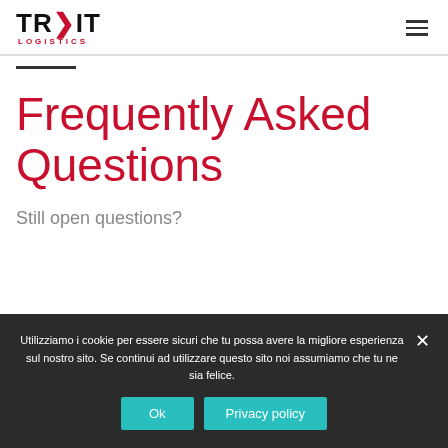[Figure (logo): TRYIT Logistics logo with red arrow chevron and red LOGISTICS text below]
Frequently Asked Questions
Still open questions?
Utilizziamo i cookie per essere sicuri che tu possa avere la migliore esperienza sul nostro sito. Se continui ad utilizzare questo sito noi assumiamo che tu ne sia felice.